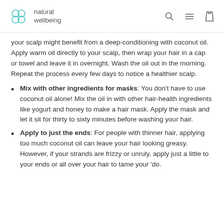natural wellbeing
your scalp might benefit from a deep-conditioning with coconut oil. Apply warm oil directly to your scalp, then wrap your hair in a cap or towel and leave it in overnight. Wash the oil out in the morning. Repeat the process every few days to notice a healthier scalp.
Mix with other ingredients for masks: You don't have to use coconut oil alone! Mix the oil in with other hair-health ingredients like yogurt and honey to make a hair mask. Apply the mask and let it sit for thirty to sixty minutes before washing your hair.
Apply to just the ends: For people with thinner hair, applying too much coconut oil can leave your hair looking greasy. However, if your strands are frizzy or unruly, apply just a little to your ends or all over your hair to tame your 'do.